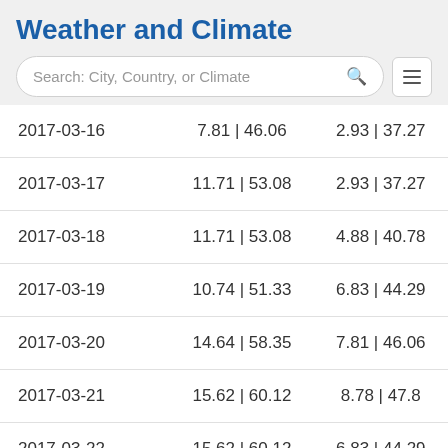Weather and Climate
Search: City, Country, or Climate
| Date | Col2 | Col3 |
| --- | --- | --- |
| 2017-03-16 | 7.81 | 46.06 | 2.93 | 37.27 |
| 2017-03-17 | 11.71 | 53.08 | 2.93 | 37.27 |
| 2017-03-18 | 11.71 | 53.08 | 4.88 | 40.78 |
| 2017-03-19 | 10.74 | 51.33 | 6.83 | 44.29 |
| 2017-03-20 | 14.64 | 58.35 | 7.81 | 46.06 |
| 2017-03-21 | 15.62 | 60.12 | 8.78 | 47.8 |
| 2017-03-22 | 15.62 | 60.12 | 6.83 | 44.29 |